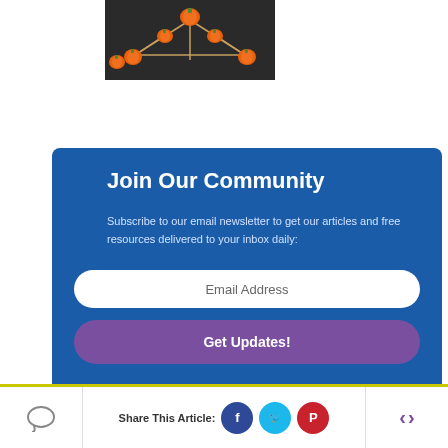[Figure (photo): Photo of orange pumpkins connected by sticks/skewers arranged in a geometric pattern on a dark background]
Join Our Community
Subscribe to our email newsletter to get our articles and free resources delivered to your inbox daily:
Email Address
Get Updates!
Share This Article: